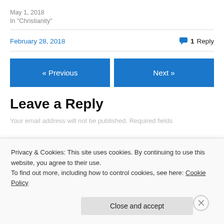May 1, 2018
In "Christianity"
February 28, 2018    1 Reply
« Previous
Next »
Leave a Reply
Your email address will not be published. Required fields
Privacy & Cookies: This site uses cookies. By continuing to use this website, you agree to their use.
To find out more, including how to control cookies, see here: Cookie Policy
Close and accept